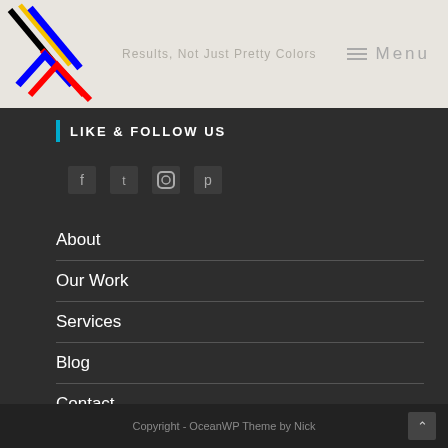Menu
LIKE & FOLLOW US
[Figure (illustration): Four small social media icons (Facebook, Twitter, Instagram, Pinterest) displayed as pixel/icon symbols in dark square boxes]
About
Our Work
Services
Blog
Contact
Copyright - OceanWP Theme by Nick